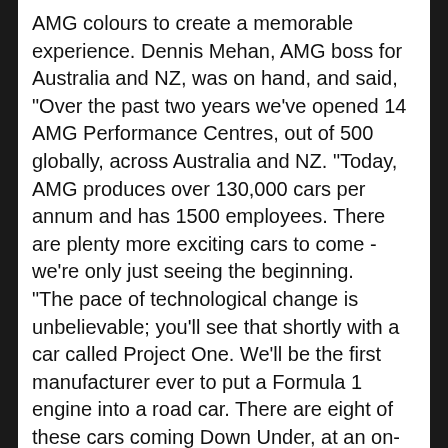AMG colours to create a memorable experience. Dennis Mehan, AMG boss for Australia and NZ, was on hand, and said, "Over the past two years we've opened 14 AMG Performance Centres, out of 500 globally, across Australia and NZ. "Today, AMG produces over 130,000 cars per annum and has 1500 employees. There are plenty more exciting cars to come - we're only just seeing the beginning. "The pace of technological change is unbelievable; you'll see that shortly with a car called Project One. We'll be the first manufacturer ever to put a Formula 1 engine into a road car. There are eight of these cars coming Down Under, at an on-road cost just under the five-million-dollar mark. "We could have sold more - I'll tell you that right now. "We are the number one market in the world for AMG. One in every five Mercedes cars sold in Australia and NZ is an AMG; that's double the next-best market. We're the fifth largest market in the world for AMG.